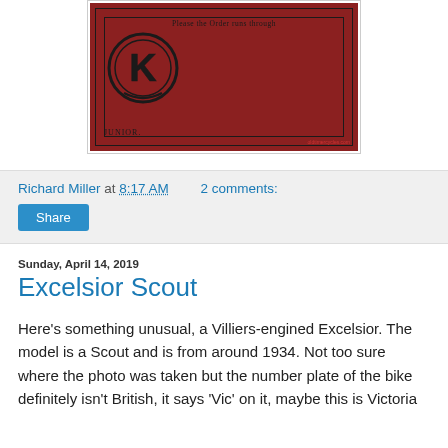[Figure (photo): A dark red/maroon vintage card or document featuring a circular KQ logo with 'JUNIOR' text below, and 'Please the Order runs through' text at top. The card has a decorative border.]
Richard Miller at 8:17 AM    2 comments:
Share
Sunday, April 14, 2019
Excelsior Scout
Here's something unusual, a Villiers-engined Excelsior. The model is a Scout and is from around 1934. Not too sure where the photo was taken but the number plate of the bike definitely isn't British, it says 'Vic' on it, maybe this is Victoria